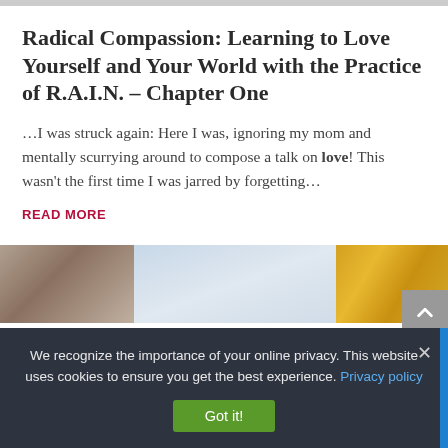Radical Compassion: Learning to Love Yourself and Your World with the Practice of R.A.I.N. – Chapter One
…I was struck again: Here I was, ignoring my mom and mentally scurrying around to compose a talk on love! This wasn't the first time I was jarred by forgetting…
READ MORE
[Figure (photo): Partial view of a photo strip showing an animal figure on the left, a light sky/background in the center, and autumn orange leaves on the right]
We recognize the importance of your online privacy. This website uses cookies to ensure you get the best experience. Privacy policy
Got it!